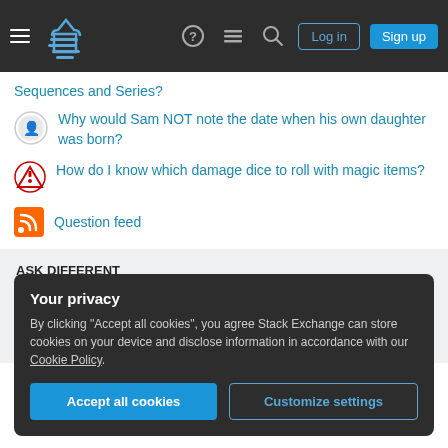Navigation bar with hamburger menu, logo, help, chat, search icons, Log in and Sign up buttons
Sequences and Series?
Why would Sam NOT note the date when his own daughter was born?
How do I know which damage dice to roll with magic items?
Question feed
ASK DIFFERENT
Tour  Help  Chat  Contact  Feedback
COMPANY
Stack Overflow  Teams  Advertising  Collectives  Talent  About  Press
Your privacy
By clicking "Accept all cookies", you agree Stack Exchange can store cookies on your device and disclose information in accordance with our Cookie Policy.
Accept all cookies  Customize settings